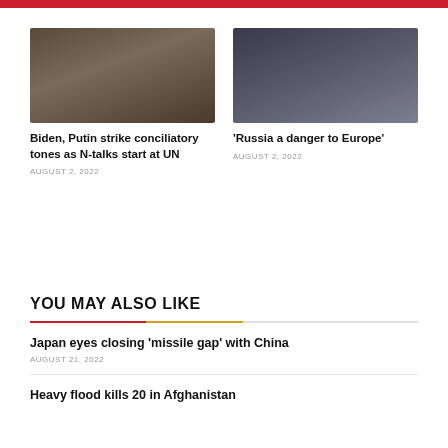[Figure (photo): Two people seated across from each other in a formal meeting room with bookshelves in the background and a floral arrangement on the table between them.]
Biden, Putin strike conciliatory tones as N-talks start at UN
AUGUST 2, 2022
[Figure (photo): Close-up of a man in a dark suit with a burgundy tie at what appears to be an official conference or meeting, with a microphone visible.]
‘Russia a danger to Europe’
AUGUST 2, 2022
YOU MAY ALSO LIKE
Japan eyes closing ‘missile gap’ with China
AUGUST 21, 2022
Heavy flood kills 20 in Afghanistan